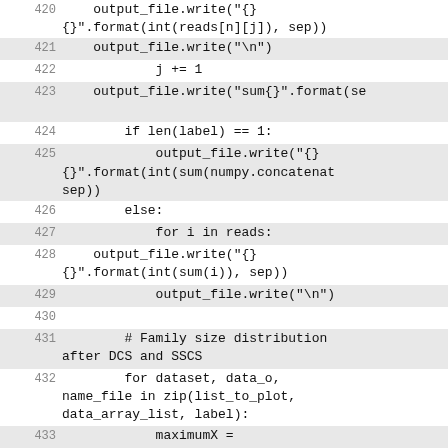420  output_file.write("{} {}".format(int(reads[n][j]), sep))
421  output_file.write("\n")
422      j += 1
423  output_file.write("sum{}".format(se
424      if len(label) == 1:
425          output_file.write("{} {}".format(int(sum(numpy.concatenat sep))
426      else:
427          for i in reads:
428  output_file.write("{} {}".format(int(sum(i)), sep))
429          output_file.write("\n")
430
431      # Family size distribution after DCS and SSCS
432      for dataset, data_o, name_file in zip(list_to_plot, data_array_list, label):
433          maximumX = numpy.amax(dataset)
434          minimumX = numpy.amin(dataset)
435